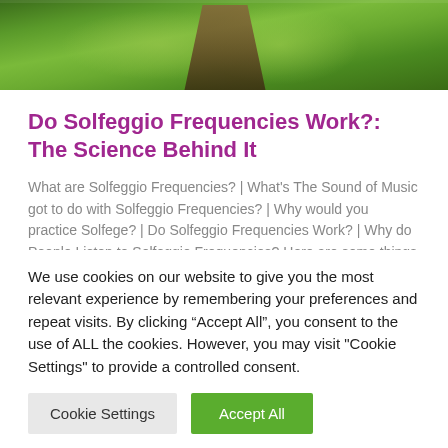[Figure (photo): Top portion of a photo showing a person outdoors in green grass/nature setting]
Do Solfeggio Frequencies Work?: The Science Behind It
What are Solfeggio Frequencies? | What's The Sound of Music got to do with Solfeggio Frequencies? | Why would you practice Solfege? | Do Solfeggio Frequencies Work? | Why do People Listen to Solfeggio Frequencies? Here are some things that
We use cookies on our website to give you the most relevant experience by remembering your preferences and repeat visits. By clicking “Accept All”, you consent to the use of ALL the cookies. However, you may visit "Cookie Settings" to provide a controlled consent.